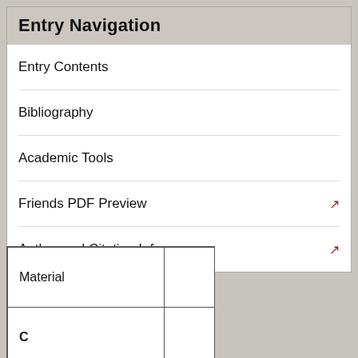Entry Navigation
Entry Contents
Bibliography
Academic Tools
Friends PDF Preview
Author and Citation Info
| Material |  |
| C |  |
| D |  |
| Necessary |  |
| E |  |
|  |  |